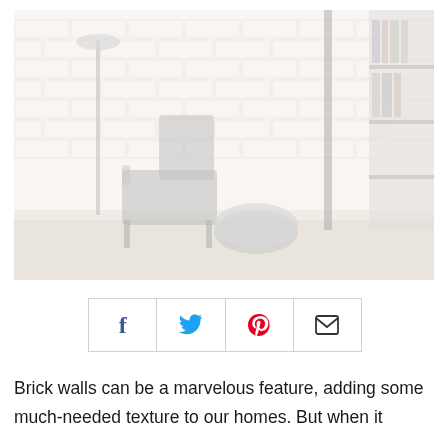[Figure (photo): Interior room photo showing a modern lounge chair against a brick wall, with a round ottoman/stool, a floor lamp on the left, and a bookshelf on the right. The image is washed out/faded with very light tones.]
[Figure (infographic): Social sharing bar with four icon buttons: Facebook (f), Twitter (bird), Pinterest (p), Email (envelope)]
Brick walls can be a marvelous feature, adding some much-needed texture to our homes. But when it